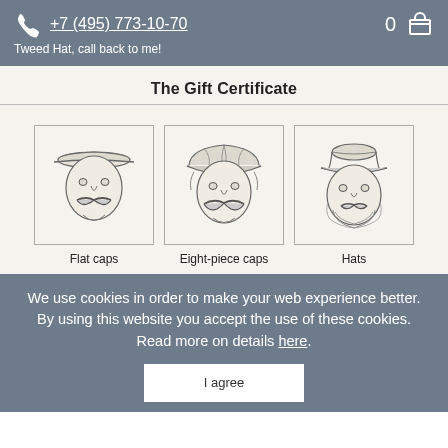+7 (495) 773-10-70  0  [cart icon]
Tweed Hat, call back to me!
The Gift Certificate
[Figure (illustration): Three illustrated framed product images: a man wearing a flat cap, a man wearing an eight-piece cap, and a man wearing a hat, each with a mustache/beard in a vintage sketch style.]
Flat caps
Eight-piece caps
Hats
We use cookies in order to make your web experience better. By using this website you accept the use of these cookies. Read more on details here.
I agree